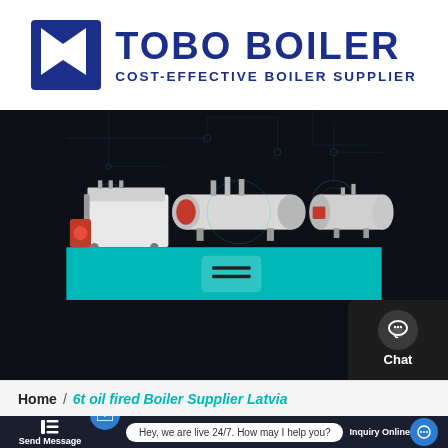[Figure (logo): TOBO BOILER logo with dark blue arrow/bookmark icon on left, text 'TOBO BOILER' in large bold dark blue letters, subtitle 'COST-EFFECTIVE BOILER SUPPLIER' in dark blue]
[Figure (photo): Hero image showing three industrial boilers (fire-tube and water-tube types) arranged on a dark high-tech background with circuit/schematic overlay graphics. Teal/cyan banner at bottom with hamburger menu icon. Side panel with Chat, Email, Contact icons on the right.]
Home  /  6t oil fired Boiler Supplier Latvia
Hey, we are live 24/7. How may I help you?
Send Message
Inquiry Online